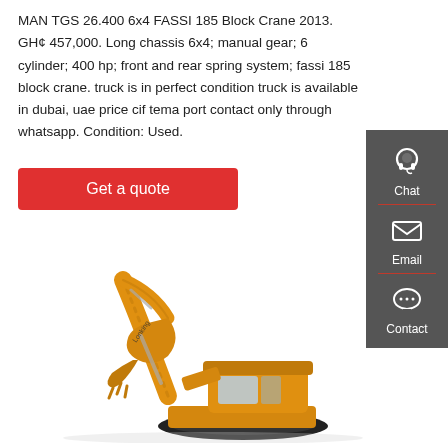MAN TGS 26.400 6x4 FASSI 185 Block Crane 2013. GH¢ 457,000. Long chassis 6x4; manual gear; 6 cylinder; 400 hp; front and rear spring system; fassi 185 block crane. truck is in perfect condition truck is available in dubai, uae price cif tema port contact only through whatsapp. Condition: Used.
[Figure (other): Get a quote button (red rectangle with white text)]
[Figure (photo): Yellow Lonking excavator/crawler construction machine on white background]